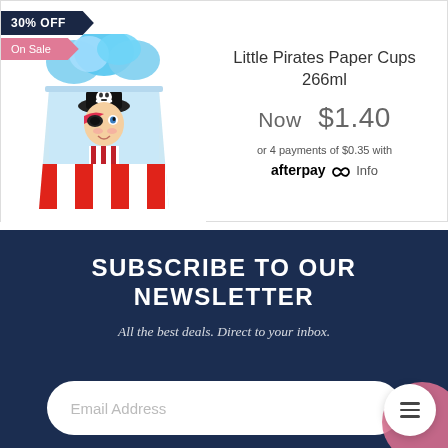[Figure (photo): Product photo of Little Pirates Paper Cups 266ml – a paper cup with a cartoon pirate boy design, red and white striped bottom, shown with blue tissue paper sticking out. A dark navy '30% OFF' ribbon badge and pink 'On Sale' ribbon badge overlay the top-left of the image.]
Little Pirates Paper Cups 266ml
Now  $1.40
or 4 payments of $0.35 with afterpay Info
SUBSCRIBE TO OUR NEWSLETTER
All the best deals. Direct to your inbox.
Email Address